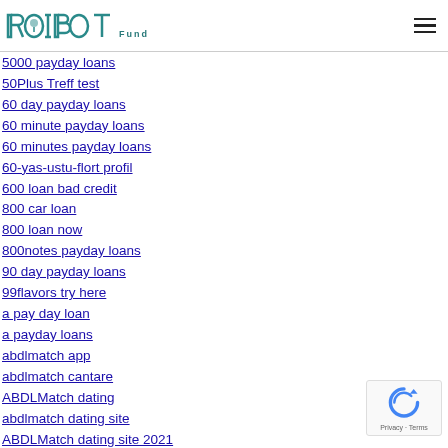ROIBOT Fund
5000 payday loans
50Plus Treff test
60 day payday loans
60 minute payday loans
60 minutes payday loans
60-yas-ustu-flort profil
600 loan bad credit
800 car loan
800 loan now
800notes payday loans
90 day payday loans
99flavors try here
a pay day loan
a payday loans
abdlmatch app
abdlmatch cantare
ABDLMatch dating
abdlmatch dating site
ABDLMatch dating site 2021
abdlmatch fr reviews
abdlmatch fr sito di incontri
abdlmatch incontri
abdlmatch reddit
ABDLmatch review
abdlmatch reviews